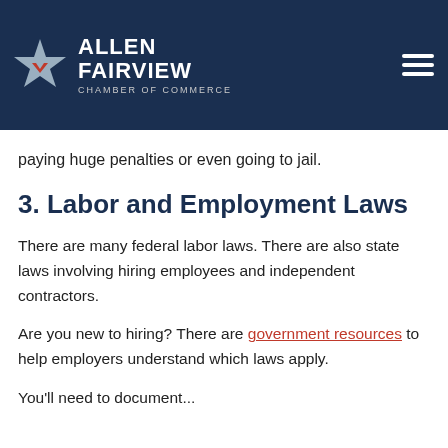Allen Fairview Chamber of Commerce
First, you must pay federal taxes. Most businesses must also pay state taxes too. Don't avoid paying your taxes or you could end up paying huge penalties or even going to jail.
3. Labor and Employment Laws
There are many federal labor laws. There are also state laws involving hiring employees and independent contractors.
Are you new to hiring? There are government resources to help employers understand which laws apply.
You'll need to document...